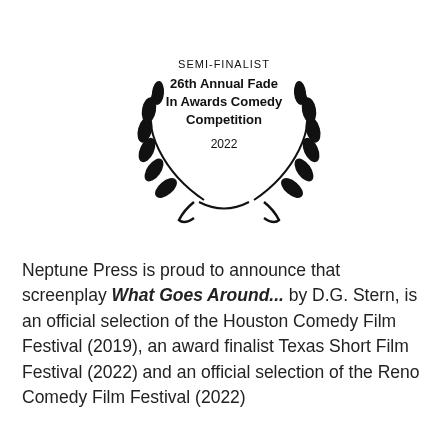[Figure (illustration): Laurel wreath award emblem with text: SEMI-FINALIST, 26th Annual Fade In Awards Comedy Competition, 2022]
Neptune Press is proud to announce that screenplay What Goes Around... by D.G. Stern, is an official selection of the Houston Comedy Film Festival (2019), an award finalist Texas Short Film Festival (2022) and an official selection of the Reno Comedy Film Festival (2022)